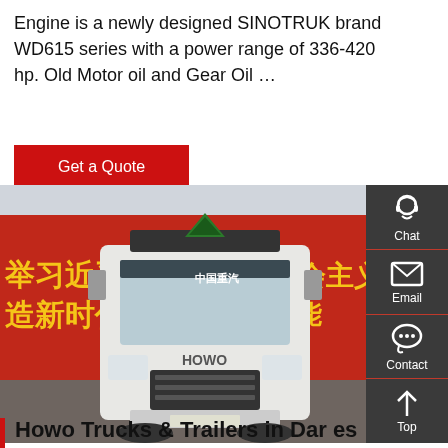Engine is a newly designed SINOTRUK brand WD615 series with a power range of 336-420 hp. Old Motor oil and Gear Oil …
Get a Quote
[Figure (photo): Front view of a white HOWO truck parked in front of a red banner with Chinese text, featuring the HOWO logo on the grille and a triangular logo on the roof.]
[Figure (infographic): Dark sidebar with Chat (headset icon), Email (envelope icon), Contact (speech bubble icon), and Top (arrow icon) buttons, separated by red lines.]
Howo Trucks & Trailers in Dar es Salaam for sale: Pri…